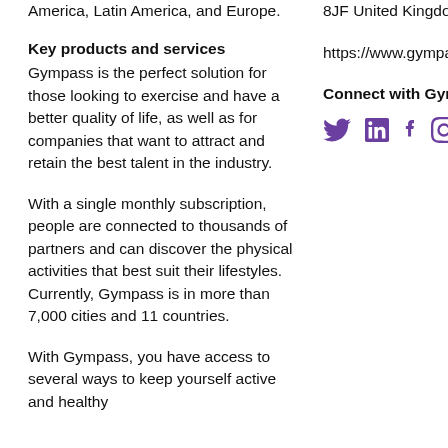America, Latin America, and Europe.
8JF United Kingdom
Key products and services
Gympass is the perfect solution for those looking to exercise and have a better quality of life, as well as for companies that want to attract and retain the best talent in the industry.
https://www.gympass...
Connect with Gympass
[Figure (infographic): Social media icons: Twitter (bird), LinkedIn (in), Facebook (f), Instagram (camera)]
With a single monthly subscription, people are connected to thousands of partners and can discover the physical activities that best suit their lifestyles. Currently, Gympass is in more than 7,000 cities and 11 countries.
With Gympass, you have access to several ways to keep yourself active and healthy